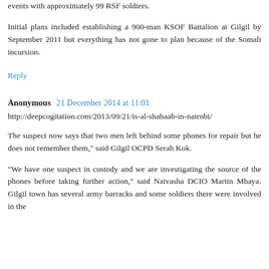events with approximately 99 RSF soldiers.
Initial plans included establishing a 900-man KSOF Battalion at Gilgil by September 2011 but everything has not gone to plan because of the Somali incursion.
Reply
Anonymous  21 December 2014 at 11:01
http://deepcogitation.com/2013/09/21/is-al-shabaab-in-nairobi/
The suspect now says that two men left behind some phones for repair but he does not remember them," said Gilgil OCPD Serah Kok.
“We have one suspect in custody and we are investigating the source of the phones before taking further action," said Naivasha DCIO Martin Mbaya. Gilgil town has several army barracks and some soldiers there were involved in the